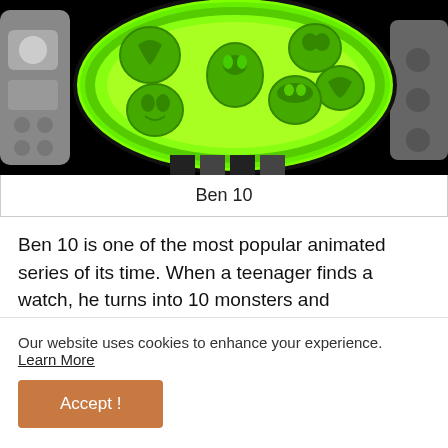[Figure (illustration): Ben 10 Omnitrix watch device showing a glowing green circular face with alien silhouette icons on a black background]
Ben 10
Ben 10 is one of the most popular animated series of its time. When a teenager finds a watch, he turns into 10 monsters and superheroes. We are presented with very, very good things. If in the past we only watched animated series on television, now we can play this
Our website uses cookies to enhance your experience. Learn More
Accept !